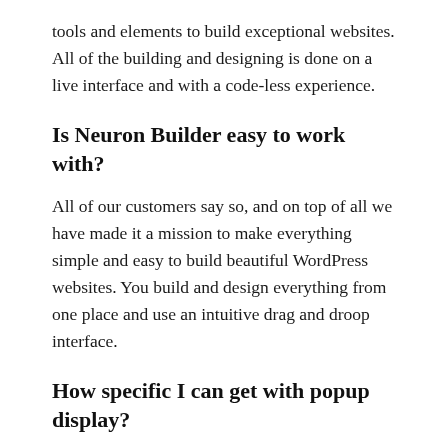tools and elements to build exceptional websites. All of the building and designing is done on a live interface and with a code-less experience.
Is Neuron Builder easy to work with?
All of our customers say so, and on top of all we have made it a mission to make everything simple and easy to build beautiful WordPress websites. You build and design everything from one place and use an intuitive drag and droop interface.
How specific I can get with popup display?
The powerful Popup Builder will allow you to set specific targets to display your popups like choosing what page